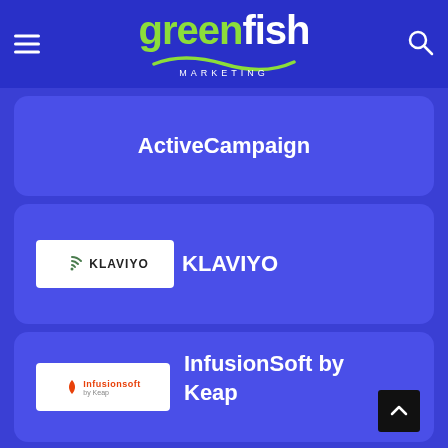[Figure (logo): Greenfish Marketing logo — 'green' in lime green, 'fish' in white, MARKETING subtitle, with a wave underline]
ActiveCampaign
[Figure (logo): Klaviyo logo badge — white rectangle with Klaviyo wordmark and wifi-style icon]
KLAVIYO
[Figure (logo): Infusionsoft by Keap logo badge — white rectangle with orange branding]
InfusionSoft by Keap